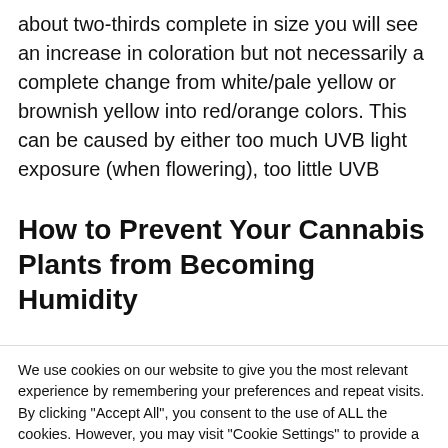about two-thirds complete in size you will see an increase in coloration but not necessarily a complete change from white/pale yellow or brownish yellow into red/orange colors. This can be caused by either too much UVB light exposure (when flowering), too little UVB
How to Prevent Your Cannabis Plants from Becoming Humidity...
We use cookies on our website to give you the most relevant experience by remembering your preferences and repeat visits. By clicking "Accept All", you consent to the use of ALL the cookies. However, you may visit "Cookie Settings" to provide a controlled consent.